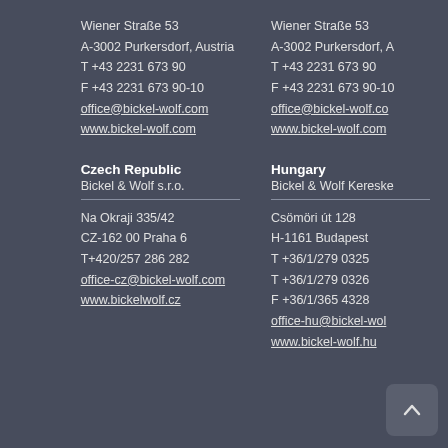Wiener Straße 53
A-3002 Purkersdorf, Austria
T +43 2231 673 90
F +43 2231 673 90-10
office@bickel-wolf.com
www.bickel-wolf.com
Wiener Straße 53
A-3002 Purkersdorf, A...
T +43 2231 673 90
F +43 2231 673 90-10
office@bickel-wolf.co...
www.bickel-wolf.com
Czech Republic
Bickel & Wolf s.r.o.
Na Okraji 335/42
CZ-162 00 Praha 6
T+420/257 286 282
office-cz@bickel-wolf.com
www.bickelwolf.cz
Hungary
Bickel & Wolf Kereske...
Csömöri út 128
H-1161 Budapest
T +36/1/279 0325
T +36/1/279 0326
F +36/1/365 4328
office-hu@bickel-wol...
www.bickel-wolf.hu